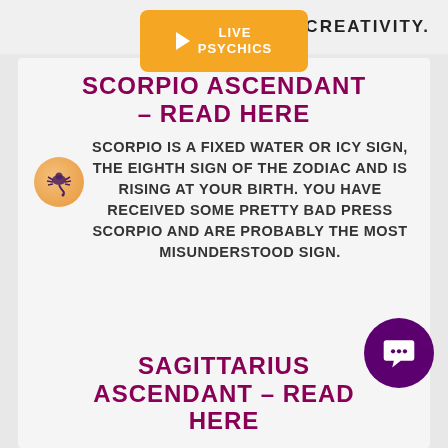CREATIVITY.
[Figure (other): Orange Live Psychics button with play icon]
SCORPIO ASCENDANT – READ HERE
SCORPIO IS A FIXED WATER OR ICY SIGN, THE EIGHTH SIGN OF THE ZODIAC AND IS RISING AT YOUR BIRTH. YOU HAVE RECEIVED SOME PRETTY BAD PRESS SCORPIO AND ARE PROBABLY THE MOST MISUNDERSTOOD SIGN.
SAGITTARIUS ASCENDANT – READ HERE